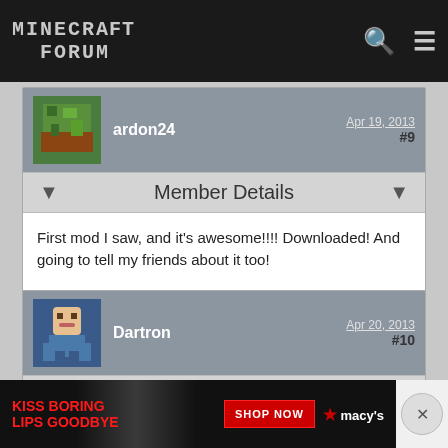Minecraft Forum
ardon24
Apr 19, 2013 #9
Member Details
First mod I saw, and it's awesome!!!! Downloaded! And going to tell my friends about it too!
Dartron
Apr 20, 2013 #10
Member Details
@
joseph58 Thanks man!
[Figure (photo): Macy's advertisement banner: KISS BORING LIPS GOODBYE with SHOP NOW button and Macy's logo]